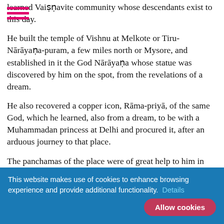learned Vaiṣṇavite community whose descendants exist to this day.
He built the temple of Vishnu at Melkote or Tiru-Nārāyaṇa-puram, a few miles north or Mysore, and established in it the God Nārāyaṇa whose statue was discovered by him on the spot, from the revelations of a dream.
He also recovered a copper icon, Rāma-priyā, of the same God, which he learned, also from a dream, to be with a Muhammadan princess at Delhi and procured it, after an arduous journey to that place.
The panchamas of the place were of great help to him in this business and he assigned them in
This website makes use of cookies to enhance browsing experience and provide additional functionality. Details  Allow cookies